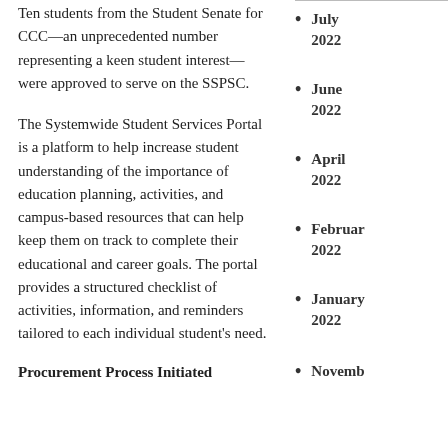Ten students from the Student Senate for CCC—an unprecedented number representing a keen student interest—were approved to serve on the SSPSC.
July 2022
The Systemwide Student Services Portal is a platform to help increase student understanding of the importance of education planning, activities, and campus-based resources that can help keep them on track to complete their educational and career goals. The portal provides a structured checklist of activities, information, and reminders tailored to each individual student's need.
June 2022
April 2022
February 2022
January 2022
Procurement Process Initiated
November